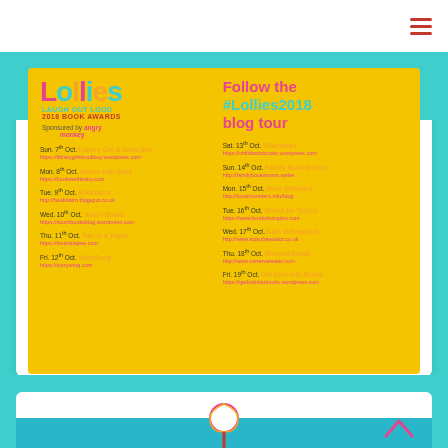[Figure (infographic): Lollies Laugh Out Loud 2018 Book Awards blog tour poster on yellow background showing Lollies logo, sponsored by Angry Monkey, with a list of blog tour dates and blog names with URLs for Oct 7–19 2018 across two columns, plus a 'Follow the #Lollies2018 blog tour' heading]
[Figure (illustration): Partial view of a second colorful poster at the bottom of the page showing a lollipop illustration on teal/blue background]